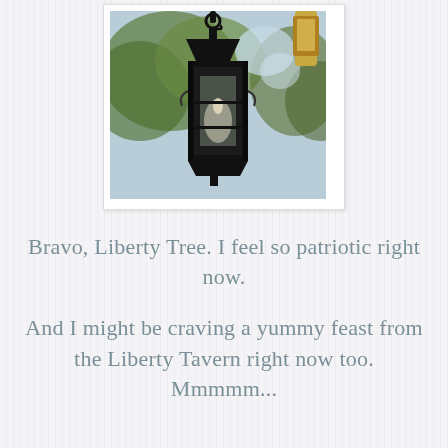[Figure (photo): A black iron lantern hanging outdoors, with a lit candle inside visible through glass panels, against a blurred background of green trees and light blue sky. Another lantern partially visible at top right.]
Bravo, Liberty Tree. I feel so patriotic right now.
And I might be craving a yummy feast from the Liberty Tavern right now too. Mmmmm...